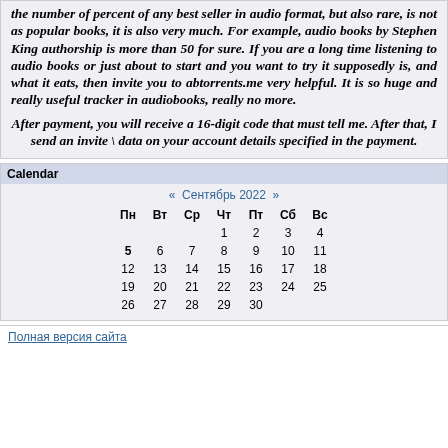the number of percent of any best seller in audio format, but also rare, is not as popular books, it is also very much. For example, audio books by Stephen King authorship is more than 50 for sure. If you are a long time listening to audio books or just about to start and you want to try it supposedly is, and what it eats, then invite you to abtorrents.me very helpful. It is so huge and really useful tracker in audiobooks, really no more.
After payment, you will receive a 16-digit code that must tell me. After that, I send an invite \ data on your account details specified in the payment.
Calendar
| Пн | Вт | Ср | Чт | Пт | Сб | Вс |
| --- | --- | --- | --- | --- | --- | --- |
|  |  |  | 1 | 2 | 3 | 4 |
| 5 | 6 | 7 | 8 | 9 | 10 | 11 |
| 12 | 13 | 14 | 15 | 16 | 17 | 18 |
| 19 | 20 | 21 | 22 | 23 | 24 | 25 |
| 26 | 27 | 28 | 29 | 30 |  |  |
Полная версия сайта